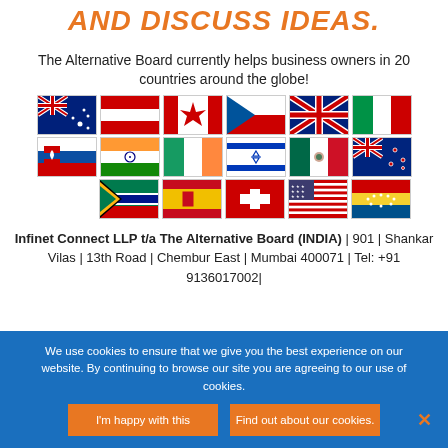AND DISCUSS IDEAS.
The Alternative Board currently helps business owners in 20 countries around the globe!
[Figure (illustration): Grid of 18 national flags representing 20 countries where The Alternative Board operates, arranged in 3 rows of 6 flags each.]
Infinet Connect LLP t/a The Alternative Board (INDIA) | 901 | Shankar Vilas | 13th Road | Chembur East | Mumbai 400071 | Tel: +91 9136017002|
We use cookies to ensure that we give you the best experience on our website. By continuing to browse our site you are agreeing to our use of cookies.
I'm happy with this
Find out about our cookies.